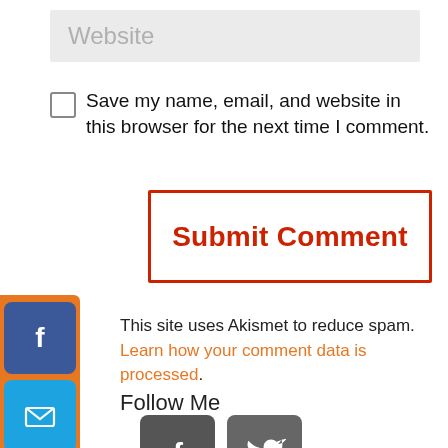Website
Save my name, email, and website in this browser for the next time I comment.
Submit Comment
[Figure (infographic): Vertical social media sharing sidebar with orange background containing Facebook, Email, Twitter, LinkedIn, and Pinterest icon buttons]
This site uses Akismet to reduce spam. Learn how your comment data is processed.
Follow Me
[Figure (infographic): Two social media follow icons: Facebook (grey) and Twitter (grey)]